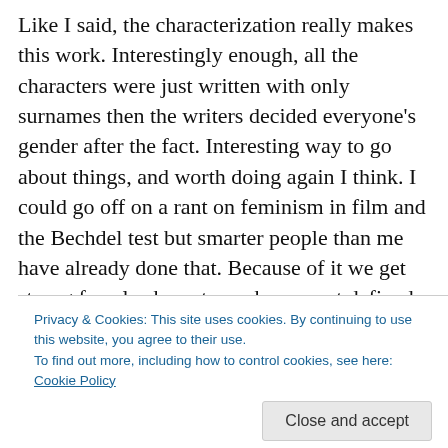Like I said, the characterization really makes this work. Interestingly enough, all the characters were just written with only surnames then the writers decided everyone's gender after the fact. Interesting way to go about things, and worth doing again I think. I could go off on a rant on feminism in film and the Bechdel test but smarter people than me have already done that. Because of it we get strong female characters who are not defined by their sex… though I suppose Lambert does fit some negative female stereotypes… and Ripley does strip down to her underwear in one scene (albeit for a very good reason).
Privacy & Cookies: This site uses cookies. By continuing to use this website, you agree to their use.
To find out more, including how to control cookies, see here: Cookie Policy
Close and accept
The dinner scene when the alien… emerges is one of the